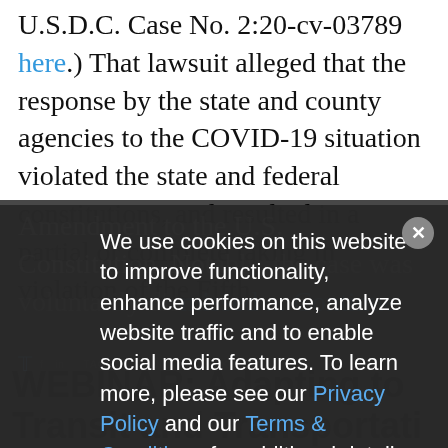U.S.D.C. Case No. 2:20-cv-03789 here.) That lawsuit alleged that the response by the state and county agencies to the COVID-19 situation violated the state and federal constitutions, and resulted in a partial or complete taking in violation of the Fifth
Amendment to the U.S. Constitution. Notably, the case was voluntarily dismissed ... Continue
[Figure (screenshot): Cookie consent modal overlay with dark semi-transparent background. Text reads: 'We use cookies on this website to improve functionality, enhance performance, analyze website traffic and to enable social media features. To learn more, please see our Privacy Policy and our Terms & Conditions for additional detail.' Close button (X) in top right corner.]
TAGS  CORONAVIRUS  KENT
WEBINAR: Adapting to Transit and Transportati...